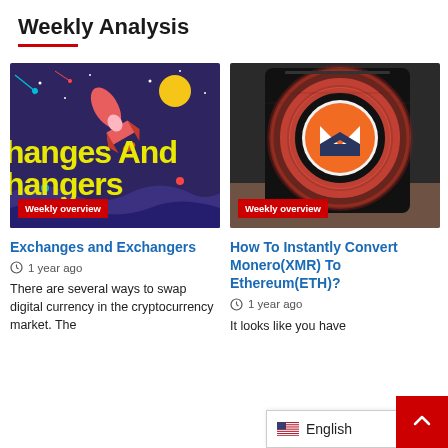Weekly Analysis
[Figure (illustration): Dark purple/navy background with space theme showing a rocket ship, stars, moon, and the text 'hanges And hangers' in yellow. Red 'Weekly overview' badge at bottom.]
[Figure (photo): Close-up photo of a hand holding a smartphone displaying the Monero (XMR) cryptocurrency logo in orange/red glowing circular design. Red 'Weekly overview' badge at bottom.]
Exchanges and Exchangers
1 year ago
There are several ways to swap digital currency in the cryptocurrency market. The
How To Instantly Convert Monero(XMR) To Ethereum(ETH)?
1 year ago
It looks like you have